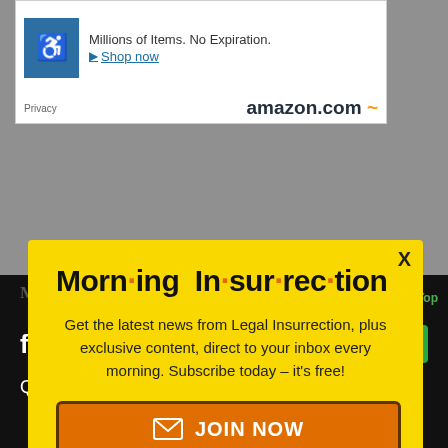[Figure (screenshot): Amazon advertisement banner with accessibility icon, 'Millions of items. No Expiration.' text, 'Shop now' link, and amazon.com logo]
[Figure (screenshot): Morning Insurrection email signup modal overlay with yellow background, title 'Morn·ing In·sur·rec·tion', subscription text, and JOIN NOW button]
[Figure (screenshot): Dark bottom bar showing Morning Insurrection watermark, close button, Back to Top link, Fiverr logo, Start Now button, and Quick Hits text]